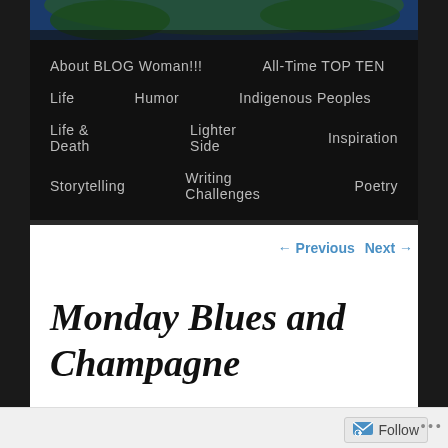[Figure (illustration): Blog header banner image with dark blue and green artistic illustration]
About BLOG Woman!!!   All-Time TOP TEN
Life   Humor   Indigenous Peoples
Life & Death   Lighter Side   Inspiration
Storytelling   Writing Challenges   Poetry
← Previous   Next →
Monday Blues and Champagne
Posted on January 18, 2016